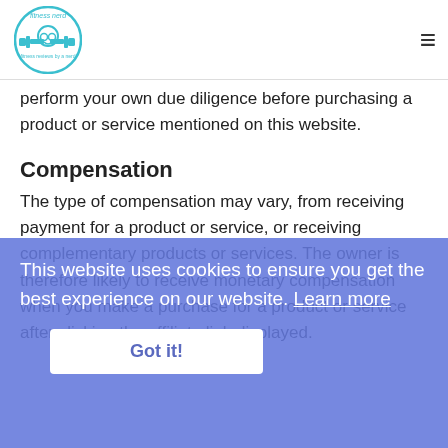fitness nerd — [logo] [hamburger menu]
perform your own due diligence before purchasing a product or service mentioned on this website.
Compensation
The type of compensation may vary, from receiving payment for a product or service, or receiving complementary products or services. The owner is therefore likely to receive monetary compensation when you make a purchase for a product or service after clicking the affiliate link displayed.
Questioning our ways
The owners aim is to provide the best products and services available to you. If you have any questions regarding any such purchases, then please contact us
This website uses cookies to ensure you get the best experience on our website. Learn more
Got it!